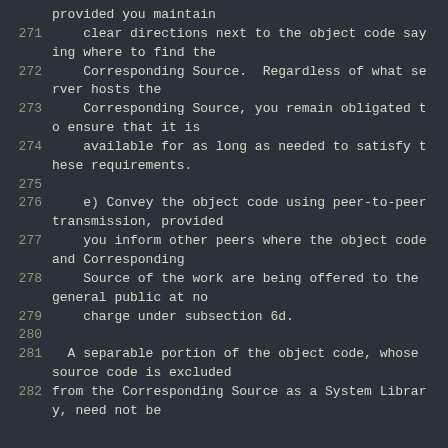provided you maintain
271     clear directions next to the object code saying where to find the
272     Corresponding Source.  Regardless of what server hosts the
273     Corresponding Source, you remain obligated to ensure that it is
274     available for as long as needed to satisfy these requirements.
275
276     e) Convey the object code using peer-to-peer transmission, provided
277     you inform other peers where the object code and Corresponding
278     Source of the work are being offered to the general public at no
279     charge under subsection 6d.
280
281   A separable portion of the object code, whose source code is excluded
282 from the Corresponding Source as a System Library, need not be